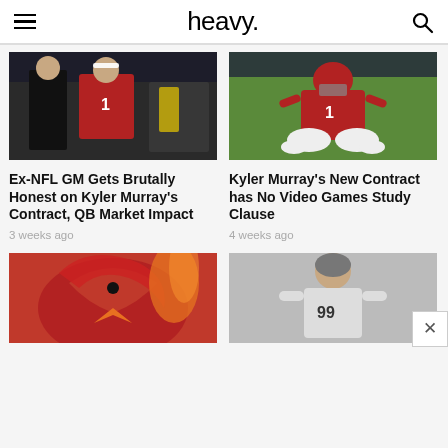heavy.
[Figure (photo): NFL player in red Arizona Cardinals jersey number 1 (Kyler Murray) on sideline with another person]
[Figure (photo): Kyler Murray in red Cardinals jersey number 1 sitting cross-legged on field]
Ex-NFL GM Gets Brutally Honest on Kyler Murray's Contract, QB Market Impact
3 weeks ago
Kyler Murray's New Contract has No Video Games Study Clause
4 weeks ago
[Figure (photo): Arizona Cardinals logo on red background]
[Figure (photo): Football player in Cardinals uniform number 99]